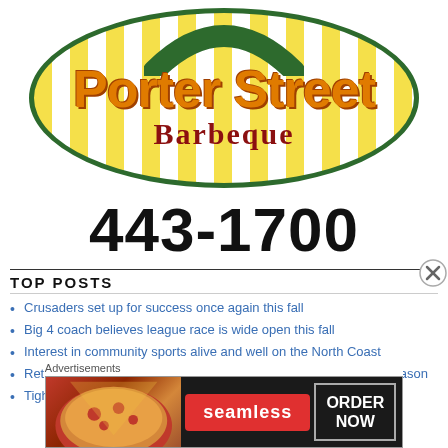[Figure (logo): Porter Street Barbeque logo: green-bordered oval with yellow and white vertical stripes, green arch at top, orange bold text 'Porter Street', dark red text 'Barbeque']
443-1700
TOP POSTS
Crusaders set up for success once again this fall
Big 4 coach believes league race is wide open this fall
Interest in community sports alive and well on the North Coast
Returning players set the tone as Loggers enjoy productive preseason
Tight-knit Warriors have high expectations for new season
Advertisements
[Figure (screenshot): Seamless food delivery advertisement banner showing pizza image on left, Seamless logo in red pill, and 'ORDER NOW' button on right, dark background]